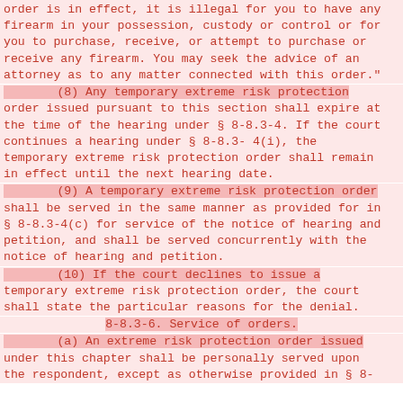order is in effect, it is illegal for you to have any firearm in your possession, custody or control or for you to purchase, receive, or attempt to purchase or receive any firearm. You may seek the advice of an attorney as to any matter connected with this order."
(8) Any temporary extreme risk protection order issued pursuant to this section shall expire at the time of the hearing under § 8-8.3-4. If the court continues a hearing under § 8-8.3-4(i), the temporary extreme risk protection order shall remain in effect until the next hearing date.
(9) A temporary extreme risk protection order shall be served in the same manner as provided for in § 8-8.3-4(c) for service of the notice of hearing and petition, and shall be served concurrently with the notice of hearing and petition.
(10) If the court declines to issue a temporary extreme risk protection order, the court shall state the particular reasons for the denial.
8-8.3-6. Service of orders.
(a) An extreme risk protection order issued under this chapter shall be personally served upon the respondent, except as otherwise provided in § 8-